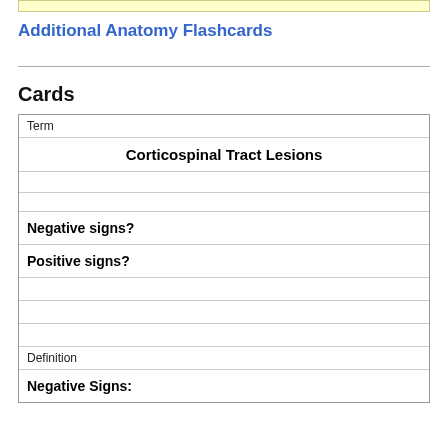Additional Anatomy Flashcards
| Term |
| --- |
| Corticospinal Tract Lesions |
|  |
| Negative signs? |
| Positive signs? |
|  |
|  |
| Definition |
| Negative Signs: |